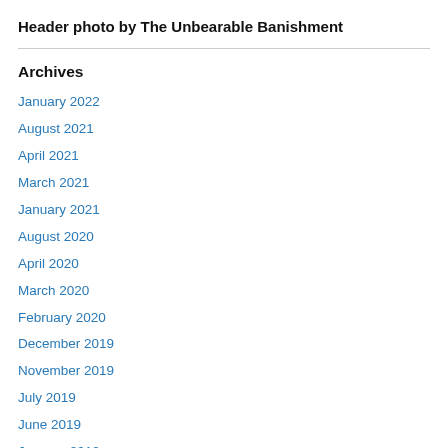Header photo by The Unbearable Banishment
Archives
January 2022
August 2021
April 2021
March 2021
January 2021
August 2020
April 2020
March 2020
February 2020
December 2019
November 2019
July 2019
June 2019
January 2019